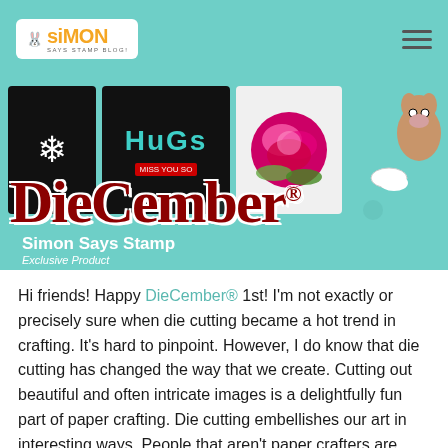Simon Says Stamp Blog navigation header
[Figure (photo): DieCember promotional banner image showing crafting cards with snowflake, HUGS text, rose, and dog illustrations, with the DieCember logo in dark red serif font and 'Simon Says Stamp Exclusive Product' text below]
Hi friends! Happy DieCember® 1st! I'm not exactly or precisely sure when die cutting became a hot trend in crafting. It's hard to pinpoint. However, I do know that die cutting has changed the way that we create. Cutting out beautiful and often intricate images is a delightfully fun part of paper crafting. Die cutting embellishes our art in interesting ways. People that aren't paper crafters are often mystified when they receive a card that has anything die cut involved in the design. If you haven't experienced this